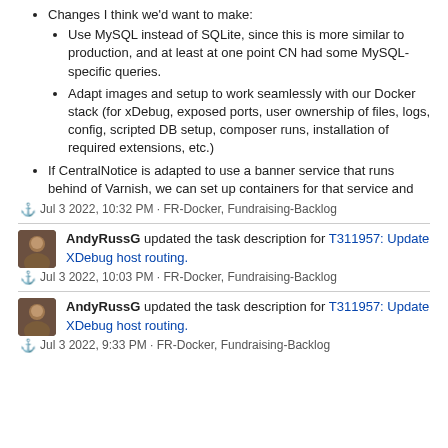Changes I think we'd want to make:
Use MySQL instead of SQLite, since this is more similar to production, and at least at one point CN had some MySQL-specific queries.
Adapt images and setup to work seamlessly with our Docker stack (for xDebug, exposed ports, user ownership of files, logs, config, scripted DB setup, composer runs, installation of required extensions, etc.)
If CentralNotice is adapted to use a banner service that runs behind of Varnish, we can set up containers for that service and
Jul 3 2022, 10:32 PM · FR-Docker, Fundraising-Backlog
AndyRussG updated the task description for T311957: Update XDebug host routing.
Jul 3 2022, 10:03 PM · FR-Docker, Fundraising-Backlog
AndyRussG updated the task description for T311957: Update XDebug host routing.
Jul 3 2022, 9:33 PM · FR-Docker, Fundraising-Backlog